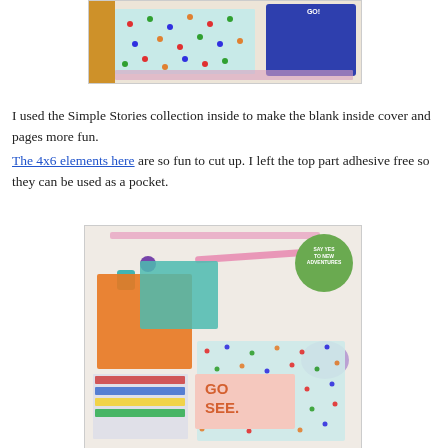[Figure (photo): Photo of colorful craft/scrapbooking supplies including patterned papers with polka dots, a blue decorative element, and a wooden ruler, arranged on a light background.]
I used the Simple Stories collection inside to make the blank inside cover and pages more fun. The 4x6 elements here are so fun to cut up. I left the top part adhesive free so they can be used as a pocket.
[Figure (photo): Photo of colorful craft/scrapbooking materials including orange and teal patterned cards, a pink card reading 'GO SEE.', confetti-dot patterned paper, a green circle button reading 'SAY YES TO NEW ADVENTURES', purple and teal binder clips, a pink pen, and purple washi tape.]